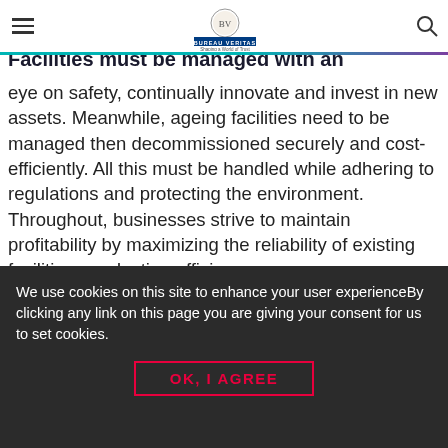Bureau Veritas — Shaping a World of Trust (navigation bar with logo)
Facilities must be managed with an eye on safety, continually innovate and invest in new assets. Meanwhile, ageing facilities need to be managed then decommissioned securely and cost-efficiently. All this must be handled while adhering to regulations and protecting the environment. Throughout, businesses strive to maintain profitability by maximizing the reliability of existing facilities, production efficiency.
We use cookies on this site to enhance your user experienceBy clicking any link on this page you are giving your consent for us to set cookies.
OK, I AGREE